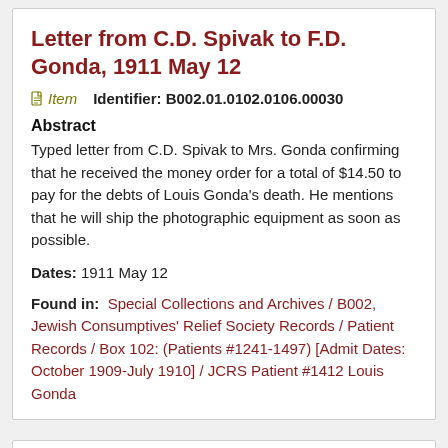Letter from C.D. Spivak to F.D. Gonda, 1911 May 12
Item   Identifier: B002.01.0102.0106.00030
Abstract
Typed letter from C.D. Spivak to Mrs. Gonda confirming that he received the money order for a total of $14.50 to pay for the debts of Louis Gonda's death. He mentions that he will ship the photographic equipment as soon as possible.
Dates: 1911 May 12
Found in:  Special Collections and Archives / B002, Jewish Consumptives' Relief Society Records / Patient Records / Box 102: (Patients #1241-1497) [Admit Dates: October 1909-July 1910] / JCRS Patient #1412 Louis Gonda
Letter from C.D. Spivak to F.D. Gonda, 1911 June 10